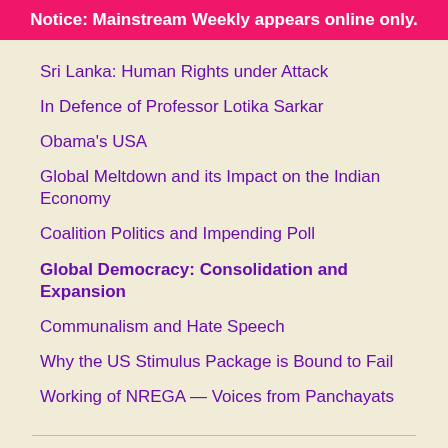Notice: Mainstream Weekly appears online only.
Sri Lanka: Human Rights under Attack
In Defence of Professor Lotika Sarkar
Obama's USA
Global Meltdown and its Impact on the Indian Economy
Coalition Politics and Impending Poll
Global Democracy: Consolidation and Expansion
Communalism and Hate Speech
Why the US Stimulus Package is Bound to Fail
Working of NREGA — Voices from Panchayats